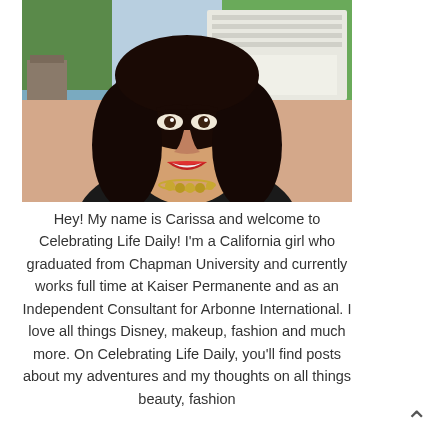[Figure (photo): Portrait photo of a young woman with long dark curly hair, red lipstick, wearing a black top and gold necklace, smiling. Background shows a waterfront area with a white riverboat and green trees.]
Hey! My name is Carissa and welcome to Celebrating Life Daily! I'm a California girl who graduated from Chapman University and currently works full time at Kaiser Permanente and as an Independent Consultant for Arbonne International. I love all things Disney, makeup, fashion and much more. On Celebrating Life Daily, you'll find posts about my adventures and my thoughts on all things beauty, fashion